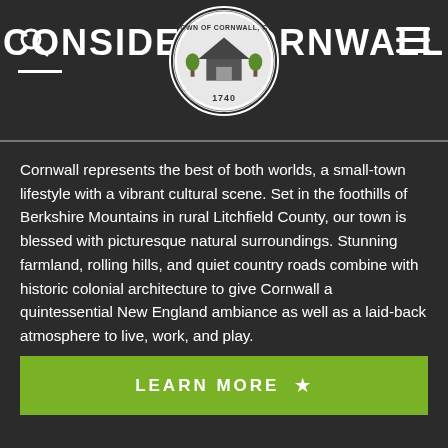CONSIDER CORNWALL
[Figure (logo): Town of Cornwall CT seal, 1740, circular seal with building and tree imagery]
Cornwall represents the best of both worlds, a small-town lifestyle with a vibrant cultural scene. Set in the foothills of Berkshire Mountains in rural Litchfield County, our town is blessed with picturesque natural surroundings. Stunning farmland, rolling hills, and quiet country roads combine with historic colonial architecture to give Cornwall a quintessential New England ambiance as well as a laid-back atmosphere to live, work, and play.
LEARN MORE ★